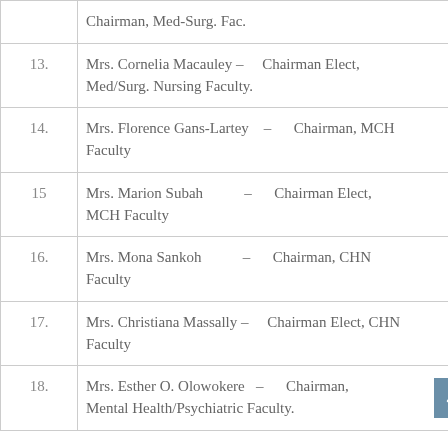| # | Name and Role |
| --- | --- |
|  | Chairman, Med-Surg. Fac. |
| 13. | Mrs. Cornelia Macauley – Chairman Elect, Med/Surg. Nursing Faculty. |
| 14. | Mrs. Florence Gans-Lartey – Chairman, MCH Faculty |
| 15 | Mrs. Marion Subah – Chairman Elect, MCH Faculty |
| 16. | Mrs. Mona Sankoh – Chairman, CHN Faculty |
| 17. | Mrs. Christiana Massally – Chairman Elect, CHN Faculty |
| 18. | Mrs. Esther O. Olowokere – Chairman, Mental Health/Psychiatric Faculty. |